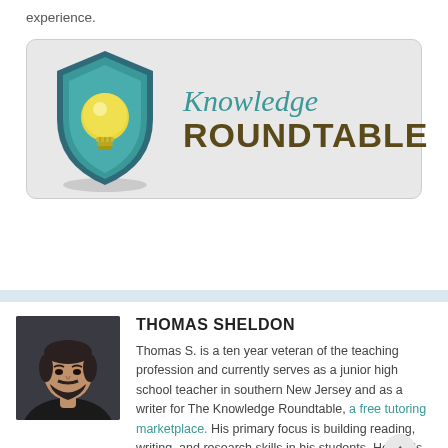experience.
[Figure (logo): Knowledge Roundtable logo: a shield with a lightbulb inside in teal/green colors, with 'Knowledge' in teal italic serif and 'ROUNDTABLE' in dark brown bold sans-serif]
[Figure (photo): Headshot of Thomas Sheldon, a man with dark hair and beard wearing dark clothing, against a dark background]
THOMAS SHELDON
Thomas S. is a ten year veteran of the teaching profession and currently serves as a junior high school teacher in southern New Jersey and as a writer for The Knowledge Roundtable, a free tutoring marketplace. His primary focus is building reading, writing, and research skills in his students. He holds two degrees from